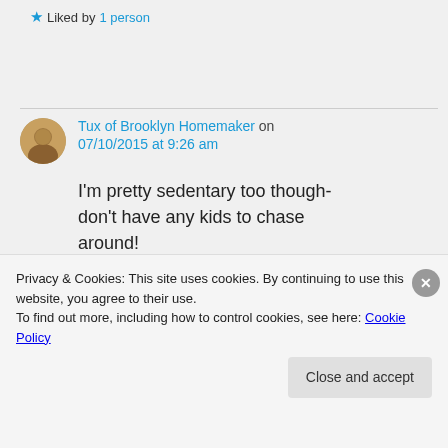★ Liked by 1 person
Tux of Brooklyn Homemaker on 07/10/2015 at 9:26 am
I'm pretty sedentary too though- don't have any kids to chase around!
I'm on my feet all day at work so when I'm home all I want to do is lay
Privacy & Cookies: This site uses cookies. By continuing to use this website, you agree to their use.
To find out more, including how to control cookies, see here: Cookie Policy
Close and accept